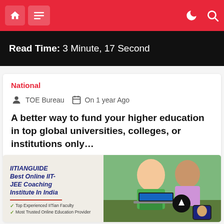Navigation bar with home icon, menu icon, dark mode toggle, and search icon
Read Time: 3 Minute, 17 Second
National
TOE Bureau   On 1 year Ago
A better way to fund your higher education in top global universities, colleges, or institutions only…
[Figure (photo): Advertisement banner for IITIANGUIDE Best Online IIT-JEE Coaching Institute In India, showing two students with a laptop. Text includes: Top Experienced IITian Faculty, Most Trusted Online Education Provider]